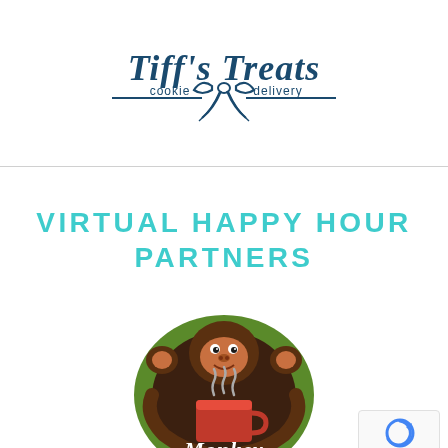[Figure (logo): Tiff's Treats cookie delivery logo with bow graphic and horizontal rules, dark navy blue text]
VIRTUAL HAPPY HOUR PARTNERS
[Figure (logo): Monkey Joe's coffee logo: circular green emblem with cartoon brown monkey holding a red coffee cup, white script text 'Monkey' at bottom]
[Figure (other): reCAPTCHA badge in bottom right corner showing Google reCAPTCHA icon with 'Privacy - Terms' text]